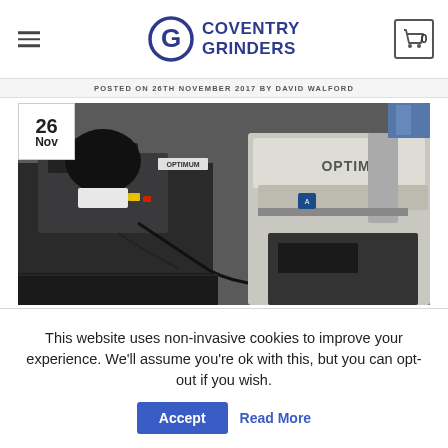[Figure (logo): Coventry Grinders logo with stylized G icon and bold text]
POSTED ON 26TH NOVEMBER 2017 BY DAVID WALFORD
[Figure (photo): Workshop photo showing two Optimum brand metal cutting machines on a workshop floor, with a date badge showing 26 Nov in the top-left corner]
This website uses non-invasive cookies to improve your experience. We'll assume you're ok with this, but you can opt-out if you wish.